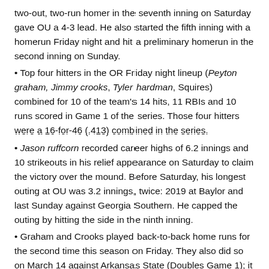two-out, two-run homer in the seventh inning on Saturday gave OU a 4-3 lead. He also started the fifth inning with a homerun Friday night and hit a preliminary homerun in the second inning on Sunday.
• Top four hitters in the OR Friday night lineup (Peyton graham, Jimmy crooks, Tyler hardman, Squires) combined for 10 of the team's 14 hits, 11 RBIs and 10 runs scored in Game 1 of the series. Those four hitters were a 16-for-46 (.413) combined in the series.
• Jason ruffcorn recorded career highs of 6.2 innings and 10 strikeouts in his relief appearance on Saturday to claim the victory over the mound. Before Saturday, his longest outing at OU was 3.2 innings, twice: 2019 at Baylor and last Sunday against Georgia Southern. He capped the outing by hitting the side in the ninth inning.
• Graham and Crooks played back-to-back home runs for the second time this season on Friday. They also did so on March 14 against Arkansas State (Doubles Game 1); it was also the last game before Friday in which OU hit four home runs.
• Graham has reached base in 29 straight games. In the last nine...